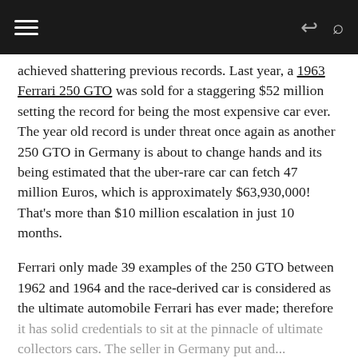[Navigation bar with hamburger menu, share icon, and search icon]
achieved shattering previous records. Last year, a 1963 Ferrari 250 GTO was sold for a staggering $52 million setting the record for being the most expensive car ever. The year old record is under threat once again as another 250 GTO in Germany is about to change hands and its being estimated that the uber-rare car can fetch 47 million Euros, which is approximately $63,930,000! That's more than $10 million escalation in just 10 months.
Ferrari only made 39 examples of the 250 GTO between 1962 and 1964 and the race-derived car is considered as the ultimate automobile Ferrari has ever made; therefore it has solid credentials to sit at the pinnacle of ultimate collectors cars. The seller in Germany put and...